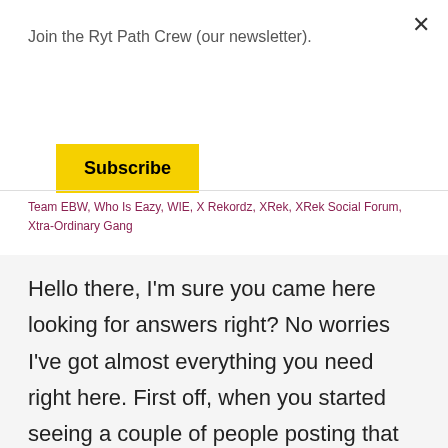Join the Ryt Path Crew (our newsletter).
Subscribe
Team EBW, Who Is Eazy, WIE, X Rekordz, XRek, XRek Social Forum, Xtra-Ordinary Gang
Hello there, I'm sure you came here looking for answers right? No worries I've got almost everything you need right here. First off, when you started seeing a couple of people posting that weird looking logo with some annoying captions what was the first thought that came to your mind? Wish I could hear your...